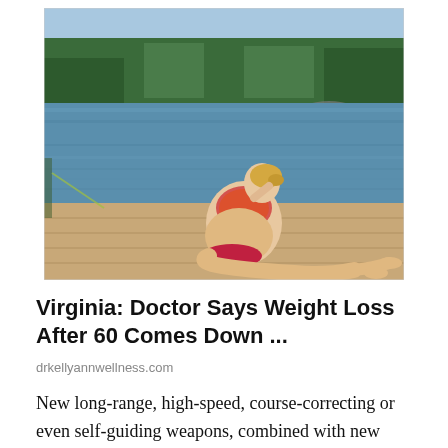[Figure (photo): Woman in bikini sitting on a wooden dock by a lake, viewed from the side, with trees and water in the background.]
Virginia: Doctor Says Weight Loss After 60 Comes Down ...
drkellyannwellness.com
New long-range, high-speed, course-correcting or even self-guiding weapons, combined with new stealth attributes or AI-enabled sensors could indeed help a U.S. 6th-Gen platform